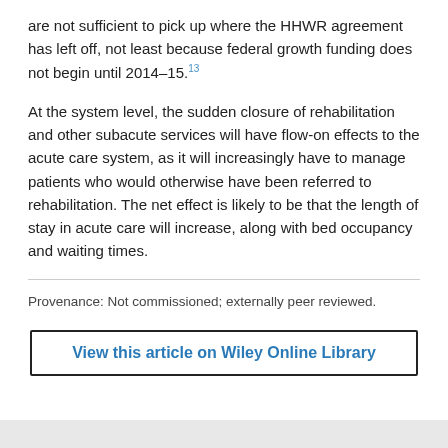are not sufficient to pick up where the HHWR agreement has left off, not least because federal growth funding does not begin until 2014–15.13
At the system level, the sudden closure of rehabilitation and other subacute services will have flow-on effects to the acute care system, as it will increasingly have to manage patients who would otherwise have been referred to rehabilitation. The net effect is likely to be that the length of stay in acute care will increase, along with bed occupancy and waiting times.
Provenance: Not commissioned; externally peer reviewed.
View this article on Wiley Online Library